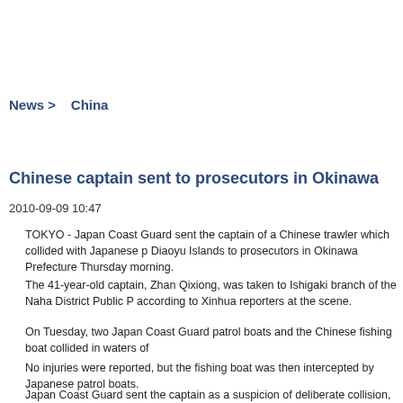News > China
Chinese captain sent to prosecutors in Okinawa
2010-09-09 10:47
TOKYO - Japan Coast Guard sent the captain of a Chinese trawler which collided with Japanese p... Diaoyu Islands to prosecutors in Okinawa Prefecture Thursday morning.
The 41-year-old captain, Zhan Qixiong, was taken to Ishigaki branch of the Naha District Public P... according to Xinhua reporters at the scene.
On Tuesday, two Japan Coast Guard patrol boats and the Chinese fishing boat collided in waters of...
No injuries were reported, but the fishing boat was then intercepted by Japanese patrol boats.
Japan Coast Guard sent the captain as a suspicion of deliberate collision, which is believed to be...